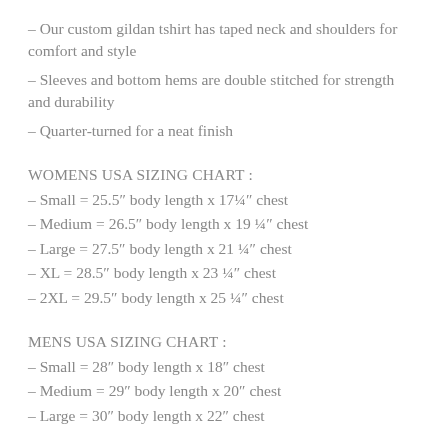– Our custom gildan tshirt has taped neck and shoulders for comfort and style
– Sleeves and bottom hems are double stitched for strength and durability
– Quarter-turned for a neat finish
WOMENS USA SIZING CHART :
– Small = 25.5″ body length x 17¼″ chest
– Medium = 26.5″ body length x 19 ¼″ chest
– Large = 27.5″ body length x 21 ¼″ chest
– XL = 28.5″ body length x 23 ¼″ chest
– 2XL = 29.5″ body length x 25 ¼″ chest
MENS USA SIZING CHART :
– Small = 28″ body length x 18″ chest
– Medium = 29″ body length x 20″ chest
– Large = 30″ body length x 22″ chest